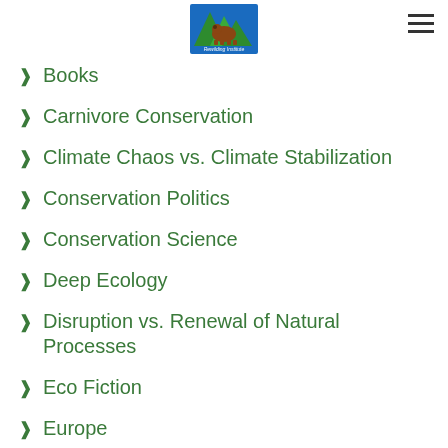[Figure (logo): Rewilding Institute logo with mountain and animal illustration on blue/green background]
Books
Carnivore Conservation
Climate Chaos vs. Climate Stabilization
Conservation Politics
Conservation Science
Deep Ecology
Disruption vs. Renewal of Natural Processes
Eco Fiction
Europe
Featured